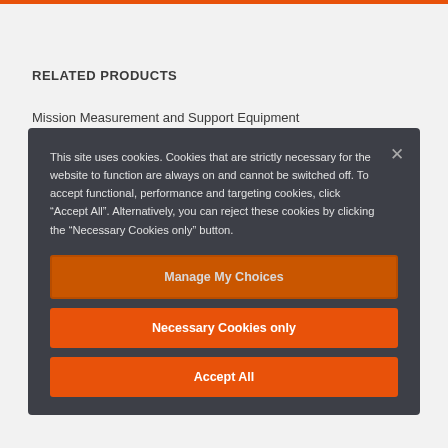RELATED PRODUCTS
Mission Measurement and Support Equipment
This site uses cookies. Cookies that are strictly necessary for the website to function are always on and cannot be switched off. To accept functional, performance and targeting cookies, click “Accept All”. Alternatively, you can reject these cookies by clicking the “Necessary Cookies only” button.
Manage My Choices
Necessary Cookies only
Accept All